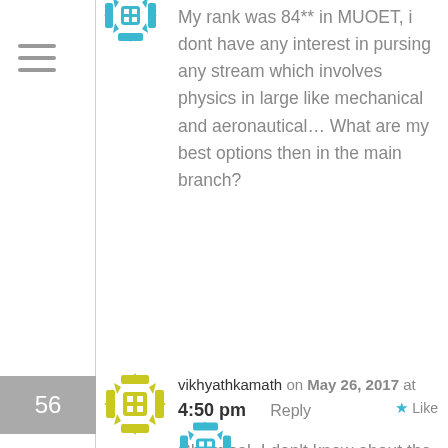[Figure (illustration): Teal/cyan decorative avatar icon, partially visible at top]
My rank was 84** in MUOET, i dont have any interest in pursing any stream which involves physics in large like mechanical and aeronautical… What are my best options then in the main branch?
56
[Figure (illustration): Yellow/green decorative avatar icon for user vikhyathkamath]
vikhyathkamath on May 26, 2017 at 4:50 pm   Reply   ★ Like
Chemical. I don't know about the syllabus but I don't think there's any other engineering stream where you can escape from physics
Are you sure you are not interested in ANY aspect of physics?
[Figure (illustration): Teal/cyan decorative avatar icon, partially visible at bottom]